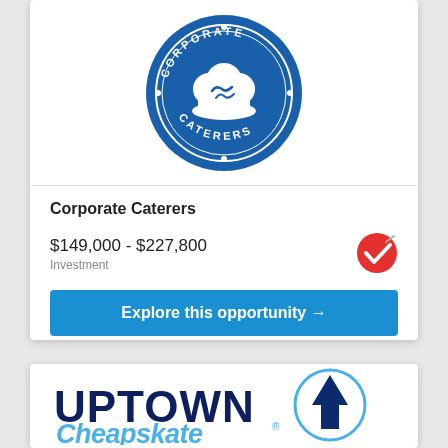[Figure (logo): Corporate Caterers logo: blue circular badge with chef hat in center and text 'CORPORATE CATERERS' around the ring]
Corporate Caterers
$149,000 - $227,800
Investment
Explore this opportunity →
[Figure (logo): Uptown Cheapskate logo: dark navy 'UPTOWN' text with blue script 'Cheapskate' below, and an arrow/triangle graphic to the right]